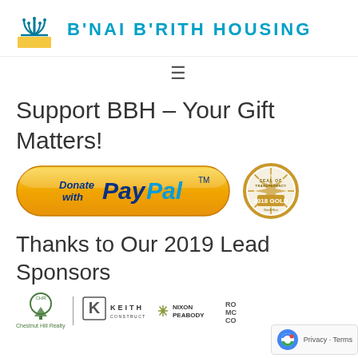[Figure (logo): B'nai B'rith Housing logo with menorah symbol and teal text]
[Figure (other): Hamburger menu icon (three horizontal lines)]
Support BBH – Your Gift Matters!
[Figure (other): Donate with PayPal button (orange gradient pill button)]
[Figure (other): GuideStar 2018 Gold Seal of Transparency circular badge]
Thanks to Our 2019 Lead Sponsors
[Figure (other): Sponsor logos: Chestnut Hill Realty, Keith Construction Inc, Nixon Peabody, and partially visible fourth sponsor]
[Figure (other): Google reCAPTCHA badge with Privacy and Terms links]